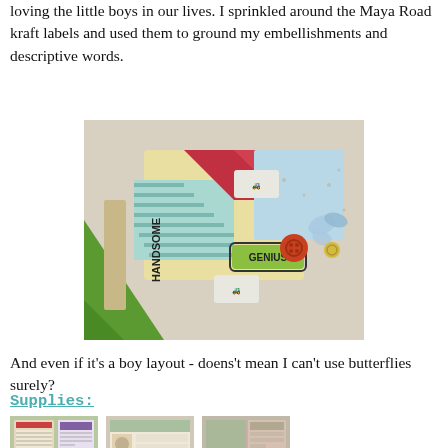loving the little boys in our lives. I sprinkled around the Maya Road kraft labels and used them to ground my embellishments and descriptive words.
[Figure (photo): Close-up photo of a scrapbook layout featuring text 'HANDSOME', tractor stickers, a 'GENIUS' label tag, buttons, butterfly embellishments, and patterned paper in green, teal, red, and cream colors.]
And even if it's a boy layout - doens't mean I can't use butterflies surely?
Supplies:
[Figure (photo): Photo of crafting supply sheets with patterned paper and stickers.]
[Figure (photo): Photo of crafting supplies including stickers and embellishments.]
[Figure (photo): Photo of crafting supplies including a flower embellishment on patterned paper.]